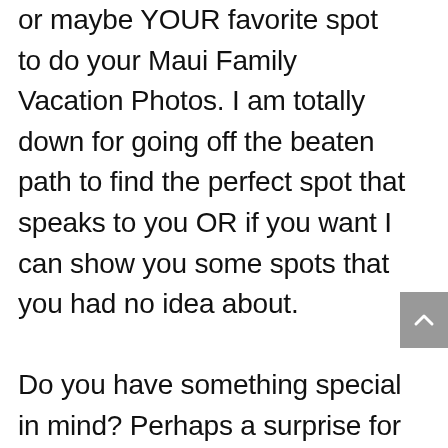or maybe YOUR favorite spot to do your Maui Family Vacation Photos. I am totally down for going off the beaten path to find the perfect spot that speaks to you OR if you want I can show you some spots that you had no idea about.

Do you have something special in mind? Perhaps a surprise for a family